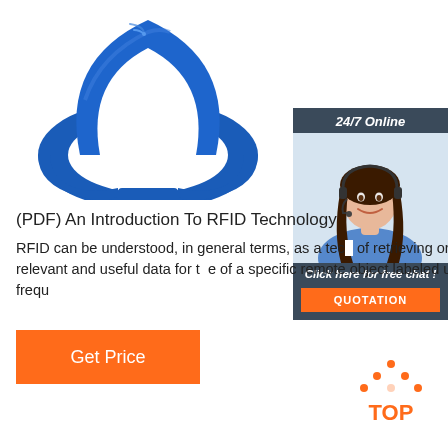[Figure (photo): Blue RFID silicone wristband photographed on white background]
[Figure (photo): 24/7 Online chat widget with a smiling female customer service representative wearing a headset, and an orange QUOTATION button]
(PDF) An Introduction To RFID Technology
RFID can be understood, in general terms, as a technology capable of retrieving or storing relevant and useful data for the identification of a specific remote object labeled using radio frequency waves.
[Figure (other): Orange Get Price button]
[Figure (other): Orange TOP scroll-to-top button with dots above the text]